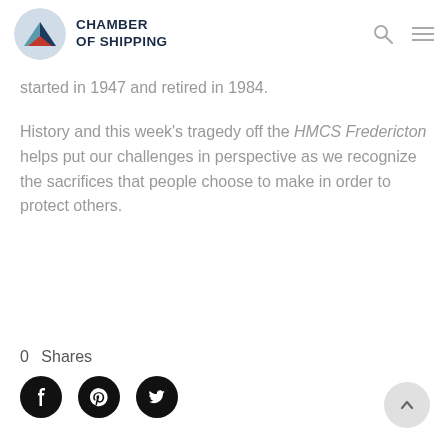CHAMBER OF SHIPPING
started in 1947 and retired in 1984.
History and this week’s tragedy off the HMCS Fredericton helps put our challenges in perspective as we recognize the sacrifices that people choose to make in order to protect others.
0  Shares
[Figure (other): Social sharing icons: Facebook, Pinterest, Twitter]
[Figure (other): Back to top arrow button]